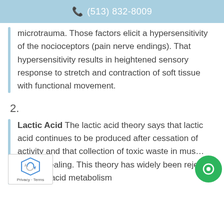(513) 832-8009
microtrauma. Those factors elicit a hypersensitivity of the nocioceptors (pain nerve endings). That hypersensitivity results in heightened sensory response to stretch and contraction of soft tissue with functional movement.
2.
Lactic Acid The lactic acid theory says that lactic acid continues to be produced after cessation of activity and that collection of toxic waste in mus… delays healing. This theory has widely been rejected as lactic acid metabolism